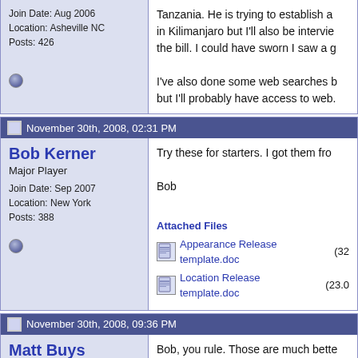Join Date: Aug 2006
Location: Asheville NC
Posts: 426
Tanzania. He is trying to establish a in Kilimanjaro but I'll also be intervie the bill. I could have sworn I saw a g

I've also done some web searches b but I'll probably have access to web.
November 30th, 2008, 02:31 PM
Bob Kerner
Major Player
Join Date: Sep 2007
Location: New York
Posts: 388
Try these for starters. I got them fro

Bob
Attached Files
Appearance Release template.doc (32
Location Release template.doc (23.0
November 30th, 2008, 09:36 PM
Matt Buys
Major Player
Join Date: Aug 2006
Location: Asheville NC
Posts: 426
Bob, you rule. Those are much bette